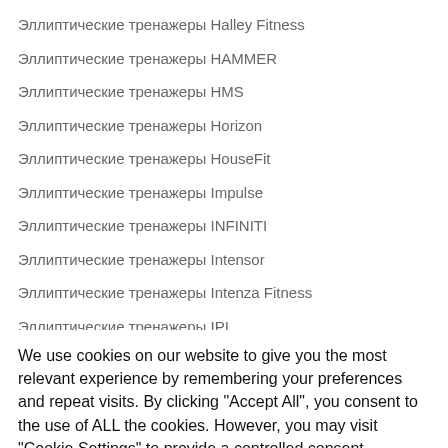Эллиптические тренажеры Halley Fitness
Эллиптические тренажеры HAMMER
Эллиптические тренажеры HMS
Эллиптические тренажеры Horizon
Эллиптические тренажеры HouseFit
Эллиптические тренажеры Impulse
Эллиптические тренажеры INFINITI
Эллиптические тренажеры Intensor
Эллиптические тренажеры Intenza Fitness
Эллиптические тренажеры IPI
We use cookies on our website to give you the most relevant experience by remembering your preferences and repeat visits. By clicking "Accept All", you consent to the use of ALL the cookies. However, you may visit "Cookie Settings" to provide a controlled consent.